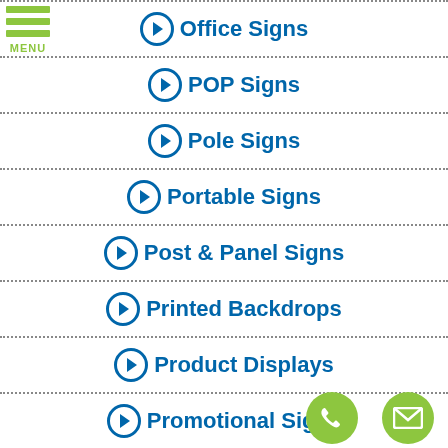Office Signs
POP Signs
Pole Signs
Portable Signs
Post & Panel Signs
Printed Backdrops
Product Displays
Promotional Signs